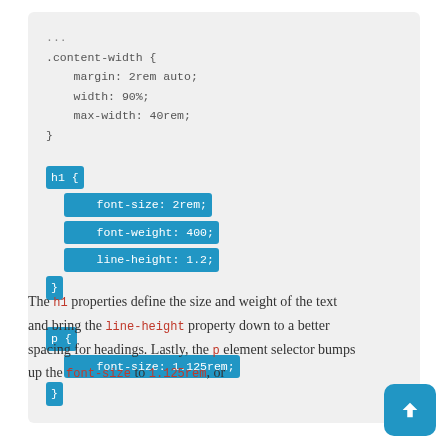[Figure (screenshot): Code block showing CSS with highlighted h1 and p selectors. The code shows .content-width class with margin, width, max-width, then h1 block with font-size: 2rem, font-weight: 400, line-height: 1.2, then p block with font-size: 1.125rem. The h1 and p selector blocks are highlighted in blue.]
The h1 properties define the size and weight of the text and bring the line-height property down to a better spacing for headings. Lastly, the p element selector bumps up the font-size to 1.125rem, or